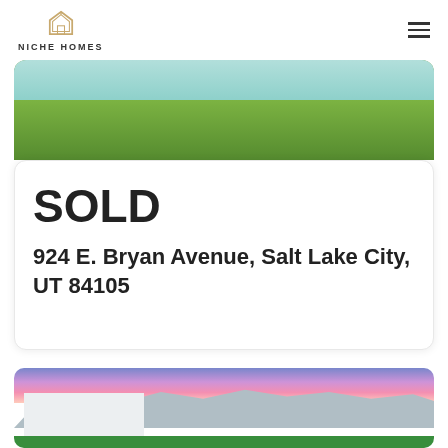NICHE HOMES
[Figure (photo): Aerial or ground-level photo of a property with green grass lawn, partially visible at top of page]
SOLD
924 E. Bryan Avenue, Salt Lake City, UT 84105
[Figure (photo): Exterior photo of a house with mountains and dramatic sunset sky in background, snow-capped rocky mountains visible, house has garage and lit windows]